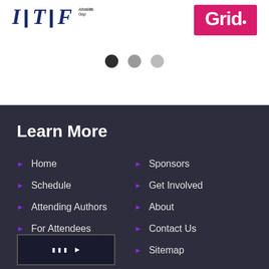[Figure (logo): ITF logo with bold navy blue letters and subtitle text on left, and pink/magenta Grid logo on right]
[Figure (other): Three dot indicators for a carousel/slideshow: first dot is dark/active, second and third are lighter gray/inactive]
Learn More
Home
Sponsors
Schedule
Get Involved
Attending Authors
About
For Attendees
Contact Us
Press Room
Sitemap
[Figure (logo): Verified or badge logo at the bottom left of the dark footer section]